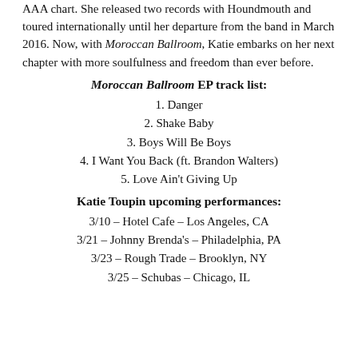AAA chart. She released two records with Houndmouth and toured internationally until her departure from the band in March 2016. Now, with Moroccan Ballroom, Katie embarks on her next chapter with more soulfulness and freedom than ever before.
Moroccan Ballroom EP track list:
1. Danger
2. Shake Baby
3. Boys Will Be Boys
4. I Want You Back (ft. Brandon Walters)
5. Love Ain't Giving Up
Katie Toupin upcoming performances:
3/10 – Hotel Cafe – Los Angeles, CA
3/21 – Johnny Brenda's – Philadelphia, PA
3/23 – Rough Trade – Brooklyn, NY
3/25 – Schubas – Chicago, IL